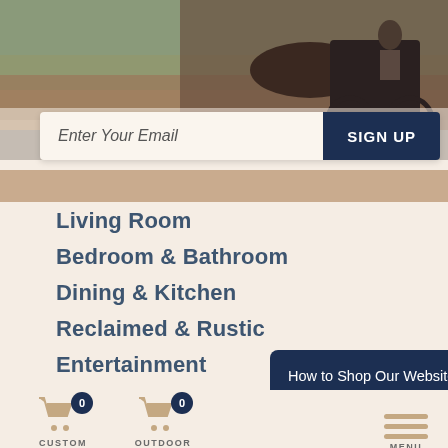[Figure (photo): A horse-drawn buggy on a rural road with green fields in the background, partially visible]
Enter Your Email
SIGN UP
Living Room
Bedroom & Bathroom
Dining & Kitchen
Reclaimed & Rustic
Entertainment
Workspace
Outdoor
How to Shop Our Website +
CUSTOM QUOTE
OUTDOOR FURNITURE
MENU